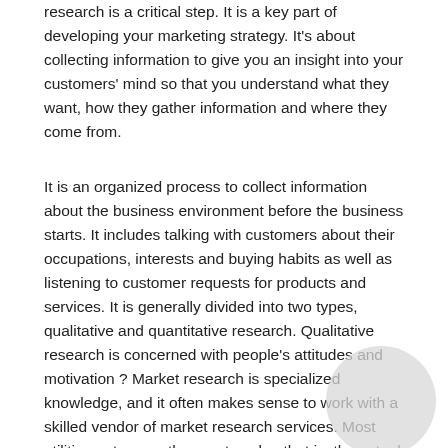research is a critical step. It is a key part of developing your marketing strategy. It's about collecting information to give you an insight into your customers' mind so that you understand what they want, how they gather information and where they come from.
It is an organized process to collect information about the business environment before the business starts. It includes talking with customers about their occupations, interests and buying habits as well as listening to customer requests for products and services. It is generally divided into two types, qualitative and quantitative research. Qualitative research is concerned with people's attitudes and motivation ? Market research is specialized knowledge, and it often makes sense to work with a skilled vendor of market research services. Most utilities outsource the grunt work – that is, the actual data collection (e.g., surveying).